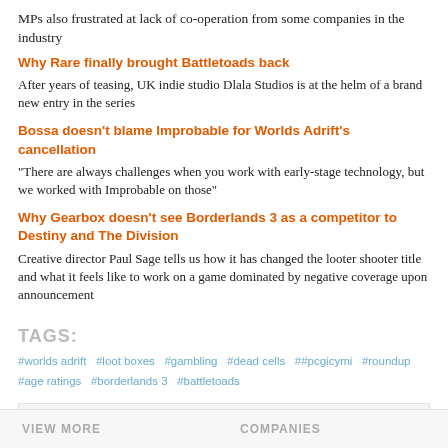MPs also frustrated at lack of co-operation from some companies in the industry
Why Rare finally brought Battletoads back
After years of teasing, UK indie studio Dlala Studios is at the helm of a brand new entry in the series
Bossa doesn't blame Improbable for Worlds Adrift's cancellation
"There are always challenges when you work with early-stage technology, but we worked with Improbable on those"
Why Gearbox doesn't see Borderlands 3 as a competitor to Destiny and The Division
Creative director Paul Sage tells us how it has changed the looter shooter title and what it feels like to work on a game dominated by negative coverage upon announcement
TAGS:
#worlds adrift  #loot boxes  #gambling  #dead cells  ##pcgicymi  #roundup  #age ratings  #borderlands 3  #battletoads
[Figure (other): Advertisement banner: GET EDITORIAL COVERAGE ACROSS OUR NETWORK - Preferred Partners]
VIEW MORE    COMPANIES